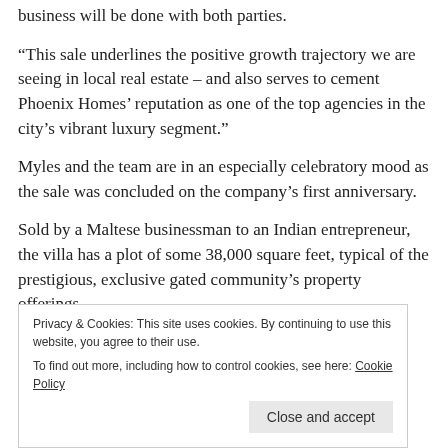business will be done with both parties.
“This sale underlines the positive growth trajectory we are seeing in local real estate – and also serves to cement Phoenix Homes’ reputation as one of the top agencies in the city’s vibrant luxury segment.”
Myles and the team are in an especially celebratory mood as the sale was concluded on the company’s first anniversary.
Sold by a Maltese businessman to an Indian entrepreneur, the villa has a plot of some 38,000 square feet, typical of the prestigious, exclusive gated community’s property offerings.
Privacy & Cookies: This site uses cookies. By continuing to use this website, you agree to their use. To find out more, including how to control cookies, see here: Cookie Policy
Close and accept